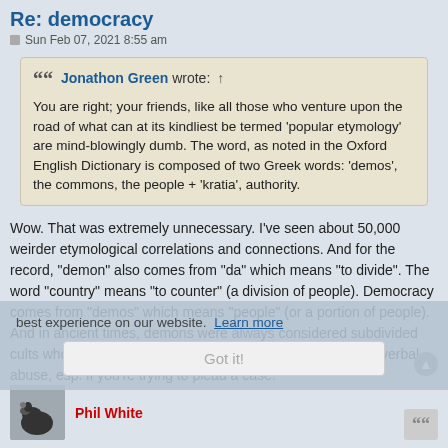Re: democracy
Sun Feb 07, 2021 8:55 am
Jonathon Green wrote: ↑
You are right; your friends, like all those who venture upon the road of what can at its kindliest be termed 'popular etymology' are mind-blowingly dumb. The word, as noted in the Oxford English Dictionary is composed of two Greek words: 'demos', the commons, the people + 'kratia', authority.
Wow. That was extremely unnecessary. I've seen about 50,000 weirder etymological correlations and connections. And for the record, "demon" also comes from "da" which means "to divide". The word "country" means "to counter" (a division of people). Democracy comes from "demos" which means "people" (or a portion of people). And in ancient times, demons were always considered subdivided cults who broke off from the whole. Please do not introduce verbal abuse, esp. if you're trying to plead a case.
best experience on our website.  Learn more
Got it!
Phil White